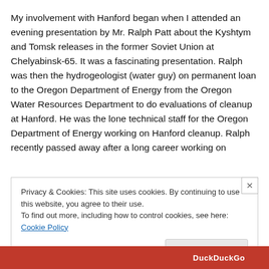My involvement with Hanford began when I attended an evening presentation by Mr. Ralph Patt about the Kyshtym and Tomsk releases in the former Soviet Union at Chelyabinsk-65. It was a fascinating presentation. Ralph was then the hydrogeologist (water guy) on permanent loan to the Oregon Department of Energy from the Oregon Water Resources Department to do evaluations of cleanup at Hanford. He was the lone technical staff for the Oregon Department of Energy working on Hanford cleanup. Ralph recently passed away after a long career working on
Privacy & Cookies: This site uses cookies. By continuing to use this website, you agree to their use.
To find out more, including how to control cookies, see here: Cookie Policy
Close and accept
DuckDuckGo